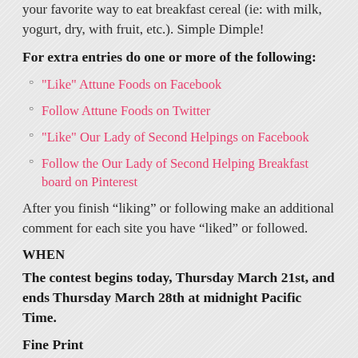your favorite way to eat breakfast cereal (ie: with milk, yogurt, dry, with fruit, etc.). Simple Dimple!
For extra entries do one or more of the following:
"Like" Attune Foods on Facebook
Follow Attune Foods on Twitter
"Like" Our Lady of Second Helpings on Facebook
Follow the Our Lady of Second Helping Breakfast board on Pinterest
After you finish “liking” or following make an additional comment for each site you have “liked” or followed.
WHEN
The contest begins today, Thursday March 21st, and ends Thursday March 28th at midnight Pacific Time.
Fine Print